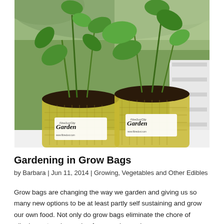[Figure (photo): Two burlap grow bags with young green plants (tomato and pepper seedlings) planted in dark soil. Each bag has a white label reading 'FibreDust City Garden www.fibredust.com'. The bags are sitting on a white surface outdoors with greenery in the background.]
Gardening in Grow Bags
by Barbara | Jun 11, 2014 | Growing, Vegetables and Other Edibles
Grow bags are changing the way we garden and giving us so many new options to be at least partly self sustaining and grow our own food. Not only do grow bags eliminate the chore of digging out and prepping for a garden and